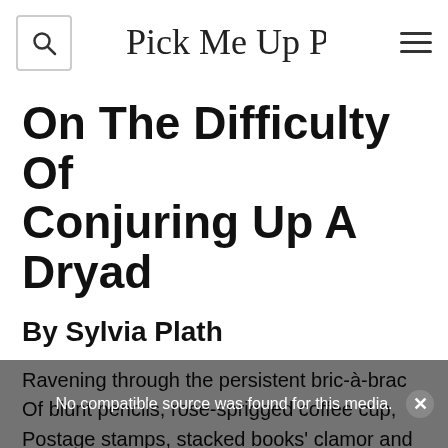Pick Me Up Poetry
On The Difficulty Of Conjuring Up A Dryad
By Sylvia Plath
Ravening through the persistent bric-à-brac Of blunt pencils, rose-sprigged coffee cup, Postage stamps, stacked books' clamor and yawp,